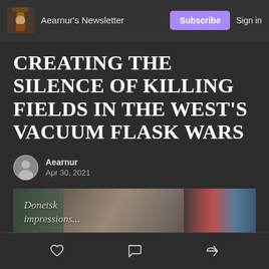Aearnur's Newsletter | Subscribe | Sign in
CREATING THE SILENCE OF KILLING FIELDS IN THE WEST'S VACUUM FLASK WARS
Aearnur
Apr 30, 2021
[Figure (photo): Photo with italic text overlay reading 'Donetsk impressions...' with an elderly woman's face visible and a person in red on the right side]
Like | Comment | Share